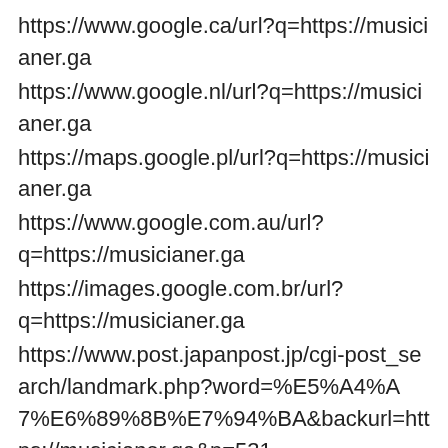https://www.google.ca/url?q=https://musicianer.ga
https://www.google.nl/url?q=https://musicianer.ga
https://maps.google.pl/url?q=https://musicianer.ga
https://www.google.com.au/url?q=https://musicianer.ga
https://images.google.com.br/url?q=https://musicianer.ga
https://www.post.japanpost.jp/cgi-post_search/landmark.php?word=%E5%A4%A7%E6%89%8B%E7%94%BA&backurl=https://musicianer.ga&p=531
https://maps.google.co.in/url?sa=i&url=https://musicianer.ga https://escardio–community.force.com/escregister?returnurl=https://musicianer.ga
https://eric.ed.gov/?redir=https://musicianer.ga